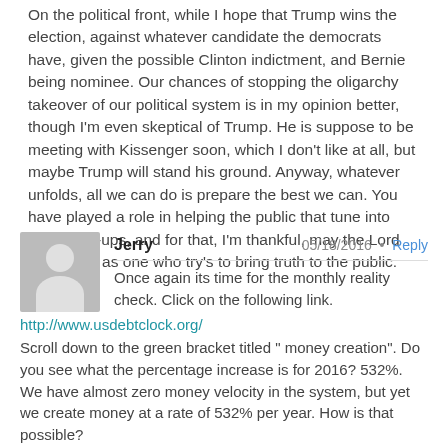On the political front, while I hope that Trump wins the election, against whatever candidate the democrats have, given the possible Clinton indictment, and Bernie being nominee. Our chances of stopping the oligarchy takeover of our political system is in my opinion better, though I'm even skeptical of Trump. He is suppose to be meeting with Kissenger soon, which I don't like at all, but maybe Trump will stand his ground. Anyway, whatever unfolds, all we can do is prepare the best we can. You have played a role in helping the public that tune into your wrap-ups, and for that, I'm thankful, may the Lord bless you, as one who try's to bring truth to the public.
Jerry  05/18/2016 • Reply
Once again its time for the monthly reality check. Click on the following link.
http://www.usdebtclock.org/
Scroll down to the green bracket titled " money creation". Do you see what the percentage increase is for 2016? 532%. We have almost zero money velocity in the system, but yet we create money at a rate of 532% per year. How is that possible?